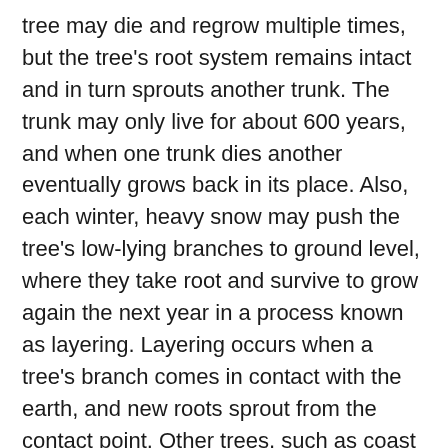tree may die and regrow multiple times, but the tree's root system remains intact and in turn sprouts another trunk. The trunk may only live for about 600 years, and when one trunk dies another eventually grows back in its place. Also, each winter, heavy snow may push the tree's low-lying branches to ground level, where they take root and survive to grow again the next year in a process known as layering. Layering occurs when a tree's branch comes in contact with the earth, and new roots sprout from the contact point. Other trees, such as coast redwoods and western red cedars are known to reproduce by layering. The tree's age was determined by carbon-14 dating of the root system, which found roots dating back to 375, 5,660, 9,000, and 9,550 years. Carbon dating is not accurate enough to pin down the exact year the tree sprouted from seed, but given the estimated age the tree is supposed to have sprouted around 7550 BC. For comparison, the invention of writing (and thus, the beginning of recorded history) did not occur until around 4000 BC. Researchers have found a cluster of around